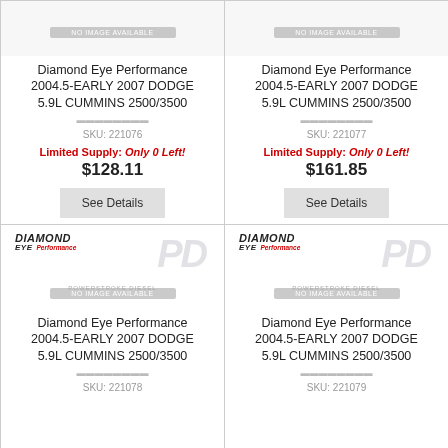[Figure (illustration): Product card top-left: No Image Available placeholder bar, Diamond Eye Performance product title, SKU 221076, Limited Supply notice, price $128.11, See Details button]
[Figure (illustration): Product card top-right: No Image Available placeholder bar, Diamond Eye Performance product title, SKU 221077, Limited Supply notice, price $161.85, See Details button]
[Figure (illustration): Product card bottom-left: Diamond Eye Performance logo with PD watermark, No Image Available bar, product title 2004.5-EARLY 2007 DODGE 5.9L CUMMINS 2500/3500, SKU 221078]
[Figure (illustration): Product card bottom-right: Diamond Eye Performance logo with PD watermark, No Image Available bar, product title 2004.5-EARLY 2007 DODGE 5.9L CUMMINS 2500/3500, SKU 221079]